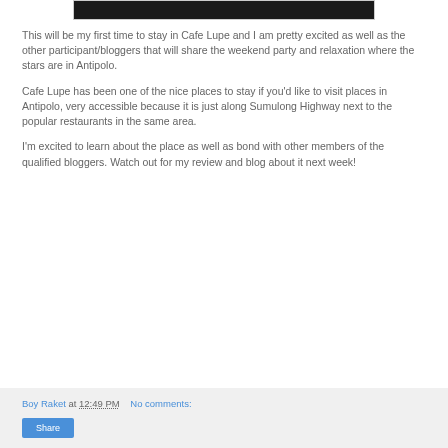[Figure (photo): Partial image strip visible at top of page, dark/black in appearance]
This will be my first time to stay in Cafe Lupe and I am pretty excited as well as the other participant/bloggers that will share the weekend party and relaxation where the stars are in Antipolo.
Cafe Lupe has been one of the nice places to stay if you'd like to visit places in Antipolo, very accessible because it is just along Sumulong Highway next to the popular restaurants in the same area.
I'm excited to learn about the place as well as bond with other members of the qualified bloggers. Watch out for my review and blog about it next week!
Boy Raket at 12:49 PM   No comments:   Share